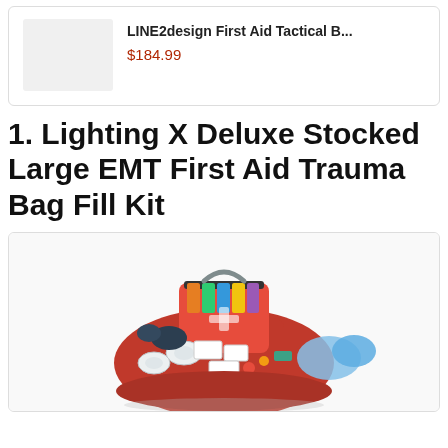LINE2design First Aid Tactical B...
$184.99
1. Lighting X Deluxe Stocked Large EMT First Aid Trauma Bag Fill Kit
[Figure (photo): Photo of a red EMT first aid trauma bag fully stocked and open, showing colorful supplies including bandages, gauze, and medical equipment spilling out from the bag.]